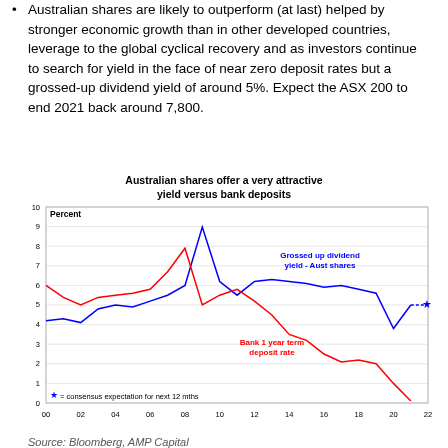Australian shares are likely to outperform (at last) helped by stronger economic growth than in other developed countries, leverage to the global cyclical recovery and as investors continue to search for yield in the face of near zero deposit rates but a grossed-up dividend yield of around 5%. Expect the ASX 200 to end 2021 back around 7,800.
[Figure (line-chart): Australian shares offer a very attractive yield versus bank deposits]
Source: Bloomberg, AMP Capital